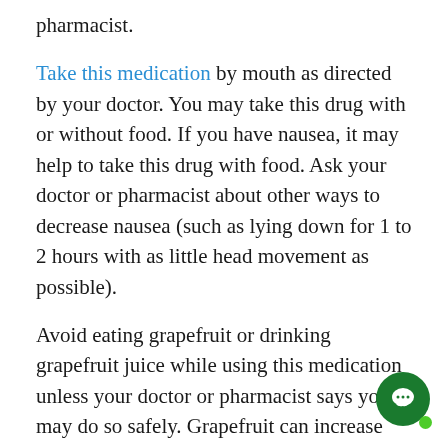pharmacist.
Take this medication by mouth as directed by your doctor. You may take this drug with or without food. If you have nausea, it may help to take this drug with food. Ask your doctor or pharmacist about other ways to decrease nausea (such as lying down for 1 to 2 hours with as little head movement as possible).
Avoid eating grapefruit or drinking grapefruit juice while using this medication unless your doctor or pharmacist says you may do so safely. Grapefruit can increase the chance of side effects with this medicine. Ask your doctor or pharmacist for more details.
If you are using a liquid form of this medication, use a medication measuring device to carefully measure the prescribed dose. Do not use a household spoon because you